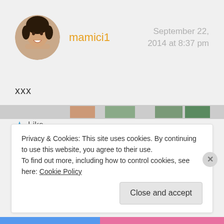[Figure (photo): Circular avatar photo of a woman smiling]
mamici1
September 22, 2014 at 8:37 pm
xxx
★ Like
Reply
Privacy & Cookies: This site uses cookies. By continuing to use this website, you agree to their use.
To find out more, including how to control cookies, see here: Cookie Policy
Close and accept